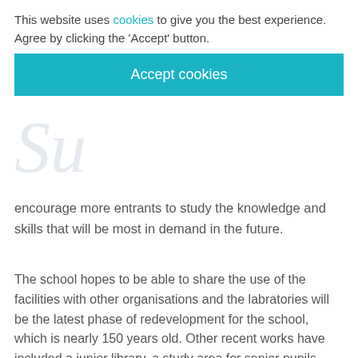This website uses cookies to give you the best experience. Agree by clicking the 'Accept' button.
Accept cookies
encourage more entrants to study the knowledge and skills that will be most in demand in the future.
The school hopes to be able to share the use of the facilities with other organisations and the labratories will be the latest phase of redevelopment for the school, which is nearly 150 years old. Other recent works have included a junior library, a study area for senior pupils, and the Wood Arts and Lecture Theatre, named after alumni Sir Ian Wood’s family recognising their committment to the school over the years.